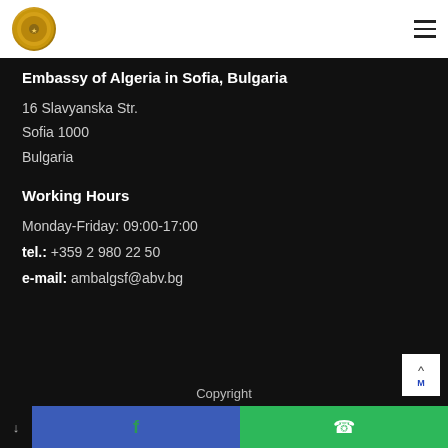[Figure (logo): Gold circular embassy seal/logo]
Embassy of Algeria in Sofia, Bulgaria
16 Slavyanska Str.
Sofia 1000
Bulgaria
Working Hours
Monday-Friday: 09:00-17:00
tel.: +359 2 980 22 50
e-mail: ambalgsf@abv.bg
Copyright